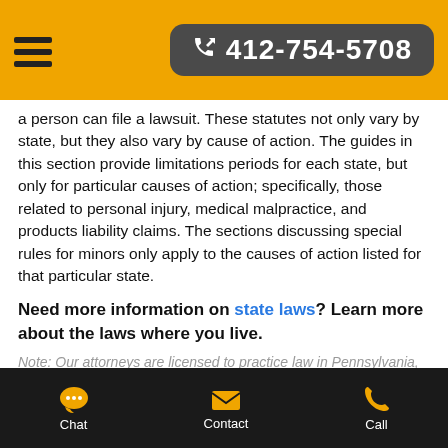412-754-5708
a person can file a lawsuit. These statutes not only vary by state, but they also vary by cause of action. The guides in this section provide limitations periods for each state, but only for particular causes of action; specifically, those related to personal injury, medical malpractice, and products liability claims. The sections discussing special rules for minors only apply to the causes of action listed for that particular state.
Need more information on state laws? Learn more about the laws where you live.
Note: Our attorneys are licensed to practice law in Pennsylvania, West Virginia, Ohio, Maryland, and Virginia. This information is not intended to solicit clients
Chat   Contact   Call